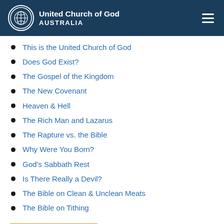United Church of God AUSTRALIA
This is the United Church of God
Does God Exist?
The Gospel of the Kingdom
The New Covenant
Heaven & Hell
The Rich Man and Lazarus
The Rapture vs. the Bible
Why Were You Born?
God's Sabbath Rest
Is There Really a Devil?
The Bible on Clean & Unclean Meats
The Bible on Tithing
Browse Category